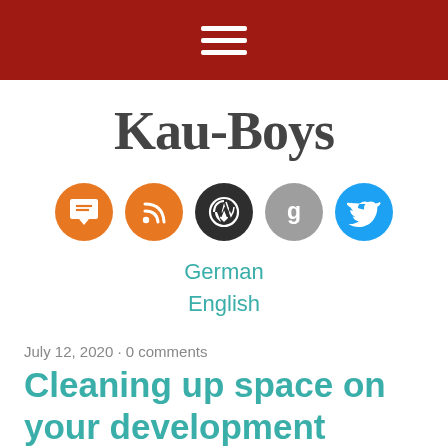Navigation bar with hamburger menu
Kau-Boys
[Figure (other): Five social media icon circles: comment/chat (orange), RSS feed (orange), WordPress (dark), Google (gray), Twitter (blue)]
German
English
July 12, 2020 · 0 comments
Cleaning up space on your development environment